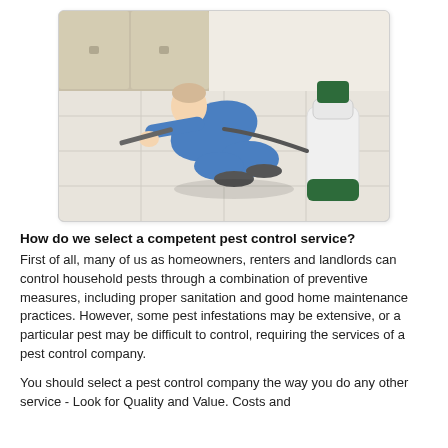[Figure (photo): A pest control technician in a blue uniform crouching/kneeling on a white tile floor, using a spray wand near the baseboard. A large white pressure sprayer with a green handle sits to the right. Kitchen cabinets are visible in the background.]
How do we select a competent pest control service?
First of all, many of us as homeowners, renters and landlords can control household pests through a combination of preventive measures, including proper sanitation and good home maintenance practices. However, some pest infestations may be extensive, or a particular pest may be difficult to control, requiring the services of a pest control company.
You should select a pest control company the way you do any other service - Look for Quality and Value. Costs and